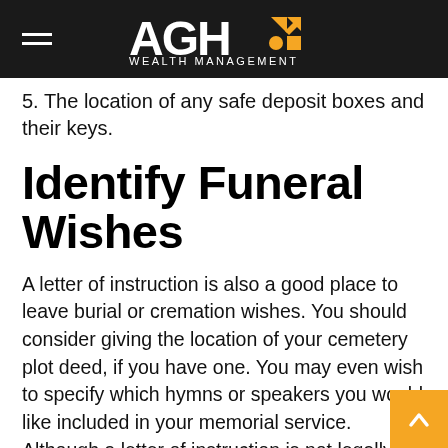AGH WEALTH MANAGEMENT
5. The location of any safe deposit boxes and their keys.
Identify Funeral Wishes
A letter of instruction is also a good place to leave burial or cremation wishes. You should consider giving the location of your cemetery plot deed, if you have one. You may even wish to specify which hymns or speakers you would like included in your memorial service. Although a letter of instruction is not legally binding, your heirs will probably be glad to know how you would like to be remembered. It also may be helpful to leave a list of contact information for people